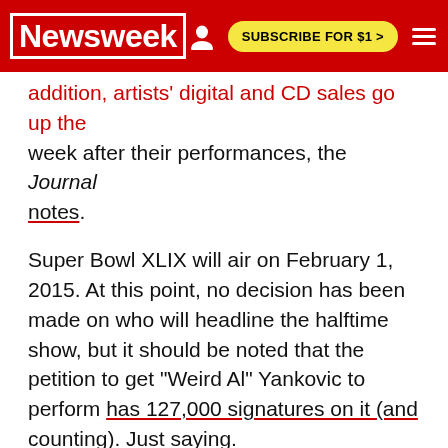Newsweek | SUBSCRIBE FOR $1 >
addition, artists' digital and CD sales go up the week after their performances, the Journal notes.
Super Bowl XLIX will air on February 1, 2015. At this point, no decision has been made on who will headline the halftime show, but it should be noted that the petition to get "Weird Al" Yankovic to perform has 127,000 signatures on it (and counting). Just saying.